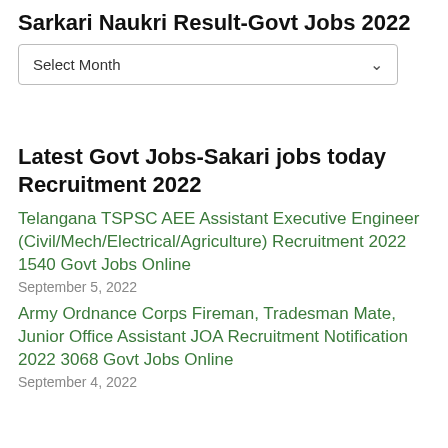Sarkari Naukri Result-Govt Jobs 2022
[Figure (other): Dropdown select box with 'Select Month' placeholder and a down-arrow chevron]
Latest Govt Jobs-Sakari jobs today Recruitment 2022
Telangana TSPSC AEE Assistant Executive Engineer (Civil/Mech/Electrical/Agriculture) Recruitment 2022 1540 Govt Jobs Online
September 5, 2022
Army Ordnance Corps Fireman, Tradesman Mate, Junior Office Assistant JOA Recruitment Notification 2022 3068 Govt Jobs Online
September 4, 2022